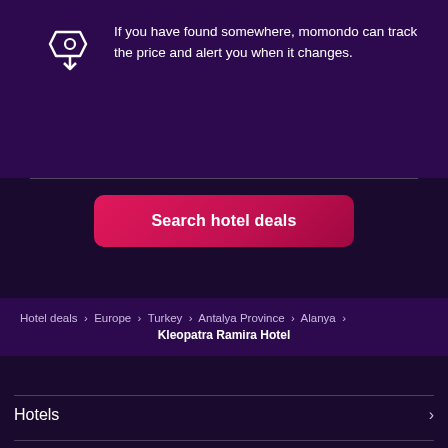Smart price alerts
If you have found somewhere, momondo can track the price and alert you when it changes.
[Figure (illustration): Icon of a price tag with a downward arrow, indicating price tracking]
Search hotel deals
Hotel deals > Europe > Turkey > Antalya Province > Alanya > Kleopatra Ramira Hotel
Hotels